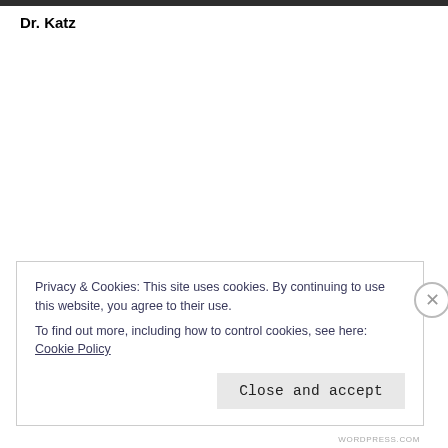Dr. Katz
Privacy & Cookies: This site uses cookies. By continuing to use this website, you agree to their use.
To find out more, including how to control cookies, see here: Cookie Policy
Close and accept
WORDPRESS.COM